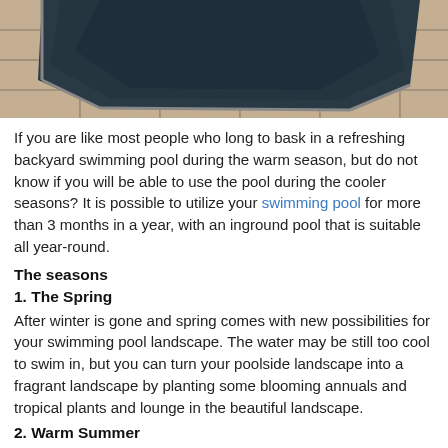[Figure (photo): A backyard inground swimming pool with dark water surrounded by large tan/beige stamped concrete patio tiles, viewed from above at an angle.]
If you are like most people who long to bask in a refreshing backyard swimming pool during the warm season, but do not know if you will be able to use the pool during the cooler seasons? It is possible to utilize your swimming pool for more than 3 months in a year, with an inground pool that is suitable all year-round.
The seasons
1. The Spring
After winter is gone and spring comes with new possibilities for your swimming pool landscape. The water may be still too cool to swim in, but you can turn your poolside landscape into a fragrant landscape by planting some blooming annuals and tropical plants and lounge in the beautiful landscape.
2. Warm Summer